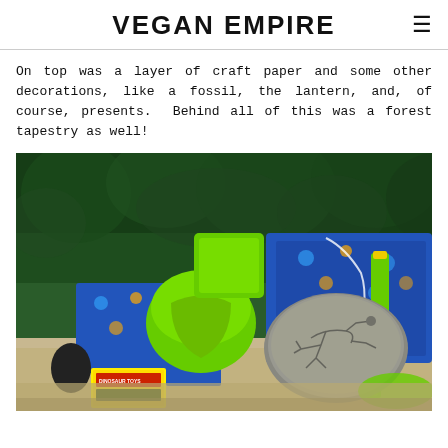VEGAN EMPIRE
On top was a layer of craft paper and some other decorations, like a fossil, the lantern, and, of course, presents.  Behind all of this was a forest tapestry as well!
[Figure (photo): Photo of dinosaur-themed gift wrapping with green fabric bags, blue and orange dinosaur print wrapping paper, a fossil rock with dinosaur skeleton imprint, a green taper candle, craft paper, and small dinosaur toys, arranged in front of a forest-themed tapestry backdrop.]